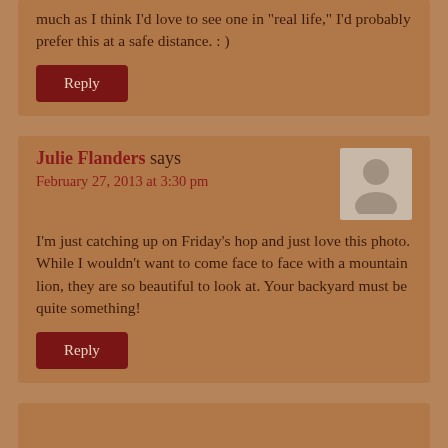much as I think I'd love to see one in "real life," I'd probably prefer this at a safe distance. : )
Reply
Julie Flanders says
February 27, 2013 at 3:30 pm
I'm just catching up on Friday's hop and just love this photo. While I wouldn't want to come face to face with a mountain lion, they are so beautiful to look at. Your backyard must be quite something!
Reply